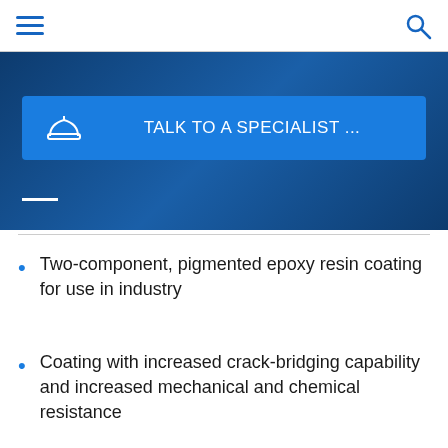Navigation menu and search icon
[Figure (screenshot): Blue gradient hero banner with a bright blue CTA button reading 'TALK TO A SPECIALIST ...' with a hard hat icon, and a white underline accent below]
Two-component, pigmented epoxy resin coating for use in industry
Coating with increased crack-bridging capability and increased mechanical and chemical resistance
Smooth, anti-skid and / or conductive finishes possible